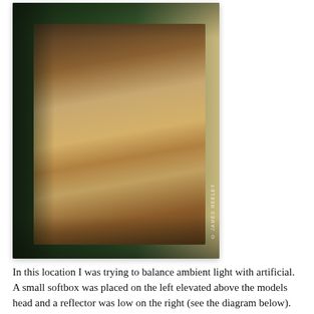[Figure (photo): Portrait photograph of a woman with dark hair and bangs, wearing a fringed wrap/shawl, standing in a room with green walls and windows with light coming through. Photo credit: © James Neeley.]
In this location I was trying to balance ambient light with artificial. A small softbox was placed on the left elevated above the models head and a reflector was low on the right (see the diagram below). Exposure was manual and